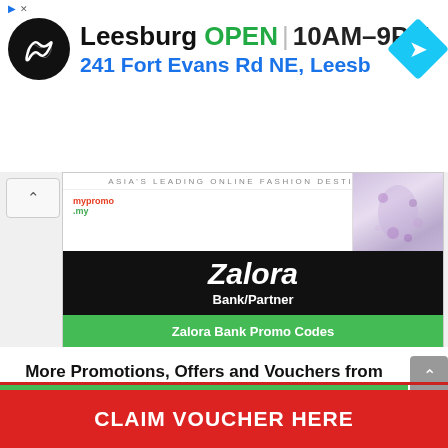[Figure (screenshot): Ad banner showing Leesburg store location with circular logo, OPEN status in green, hours 10AM-9PM, address 241 Fort Evans Rd NE, Leesb, and blue navigation diamond icon]
[Figure (screenshot): Zalora promo card with Asia's Leading Online Fashion Destination header, mypromo.my logo, floral dress image, Zalora Bank/Partner black box, and green Zalora Bank Promo Codes button]
More Promotions, Offers and Vouchers from Shopee and Lazada
→ Click Here for Lazada New User Reward worth
CLAIM VOUCHER HERE